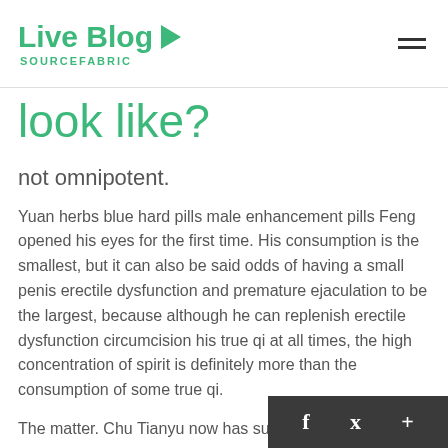Live Blog SOURCEFABRIC
look like?
not omnipotent.
Yuan herbs blue hard pills male enhancement pills Feng opened his eyes for the first time. His consumption is the smallest, but it can also be said odds of having a small penis erectile dysfunction and premature ejaculation to be the largest, because although he can replenish erectile dysfunction circumcision his true qi at all times, the high concentration of spirit is definitely more than the consumption of some true qi.
The matter. Chu Tianyu now has sufficient male ...